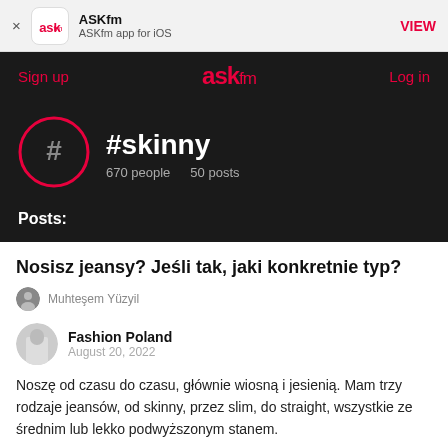× ASKfm | ASKfm app for iOS | VIEW
Sign up | ASKfm | Log in
#skinny
670 people   50 posts
Posts:
Nosisz jeansy? Jeśli tak, jaki konkretnie typ?
Muhteşem Yüzyil
Fashion Poland
August 20, 2022
Noszę od czasu do czasu, głównie wiosną i jesienią. Mam trzy rodzaje jeansów, od skinny, przez slim, do straight, wszystkie ze średnim lub lekko podwyższonym stanem.